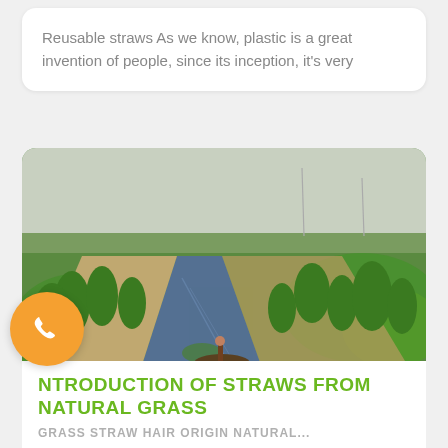Reusable straws As we know, plastic is a great invention of people, since its inception, it's very
[Figure (photo): Aerial/ground-level view of a narrow waterway or canal running through a lush green grassy wetland/marsh landscape. A person can be seen near a small boat on the water. Trees are visible in the background under an overcast sky.]
NTRODUCTION OF STRAWS FROM NATURAL GRASS
GRASS STRAW HAIR ORIGIN NATURAL...